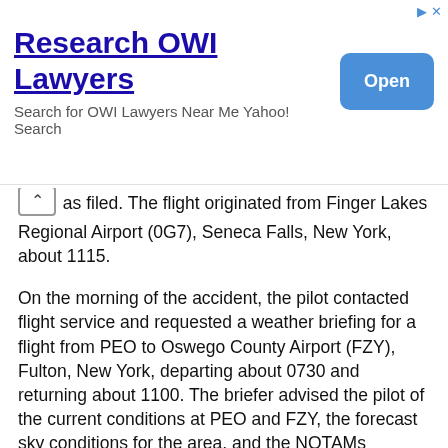[Figure (screenshot): Advertisement banner for 'Research OWI Lawyers' with Yahoo! Search, featuring an Open button]
as filed. The flight originated from Finger Lakes Regional Airport (0G7), Seneca Falls, New York, about 1115.
On the morning of the accident, the pilot contacted flight service and requested a weather briefing for a flight from PEO to Oswego County Airport (FZY), Fulton, New York, departing about 0730 and returning about 1100. The briefer advised the pilot of the current conditions at PEO and FZY, the forecast sky conditions for the area, and the NOTAMs applicable for the proposed flight.
Review of airport security video footage showed that the accident airplane began taxiing at PEO about 0800. Data downloaded from a handheld GPS receiver recovered from the accident site showed that the device began recording on the morning of the accident at 0818. The airplane's first recorded position was about 22 nautical miles (nm) northeast of PEO, and heading correspondingly between PEO and FZY.